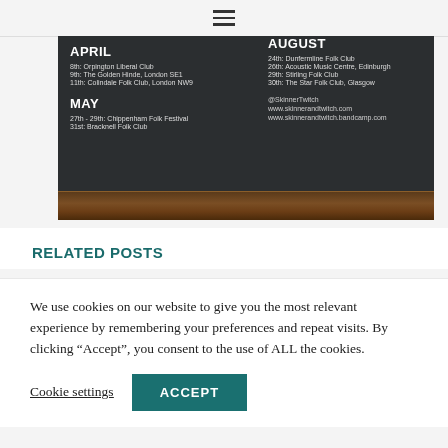Navigation hamburger menu icon
[Figure (other): Dark background event poster for Skinner & Twitch showing tour dates. APRIL: 8th Orpington Liberal Club, 9th The Golden Hinde London SE1, 11th Colindale Folk Club London NW9. MAY: 27th-29th Chippenham Folk Festival, 31st Bracknell Folk Club. AUGUST: 24th Dunfermline Folk Club, 26th Acoustic Music Centre Edinburgh, 29th Stirling Folk Club, 30th The Star Folk Club Glasgow. Social: @SkinnerTwitch, www.skinnerandtwitch.com, www.skinnerandtwitch.bandcamp.com. Bottom has a wood texture bar.]
RELATED POSTS
We use cookies on our website to give you the most relevant experience by remembering your preferences and repeat visits. By clicking “Accept”, you consent to the use of ALL the cookies.
Cookie settings  ACCEPT